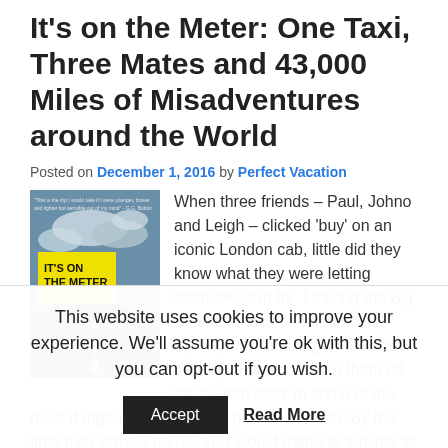It's on the Meter: One Taxi, Three Mates and 43,000 Miles of Misadventures around the World
Posted on December 1, 2016 by Perfect Vacation
[Figure (illustration): Book cover of 'It's on the Meter' showing a taxi on a road with dramatic sky]
When three friends – Paul, Johno and Leigh – clicked 'buy' on an iconic London cab, little did they know what they were letting themselves in for. Leaving the Big Smoke in their taxi bound for Sydney, the lads began a 43,000-mile trip that would take them off the beaten track to some of the most dangerous and deadly places on earth. By the time they arrived home, they would manage against all the odds to
This website uses cookies to improve your experience. We'll assume you're ok with this, but you can opt-out if you wish.
Accept   Read More